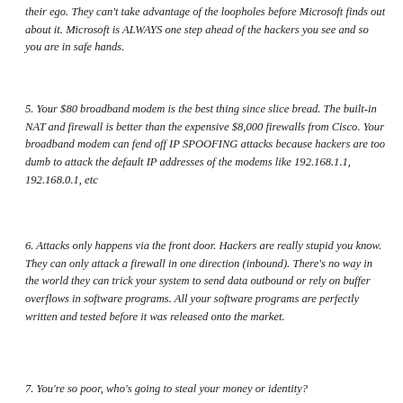their ego. They can't take advantage of the loopholes before Microsoft finds out about it. Microsoft is ALWAYS one step ahead of the hackers you see and so you are in safe hands.
5. Your $80 broadband modem is the best thing since slice bread. The built-in NAT and firewall is better than the expensive $8,000 firewalls from Cisco. Your broadband modem can fend off IP SPOOFING attacks because hackers are too dumb to attack the default IP addresses of the modems like 192.168.1.1, 192.168.0.1, etc
6. Attacks only happens via the front door. Hackers are really stupid you know. They can only attack a firewall in one direction (inbound). There's no way in the world they can trick your system to send data outbound or rely on buffer overflows in software programs. All your software programs are perfectly written and tested before it was released onto the market.
7. You're so poor, who's going to steal your money or identity?